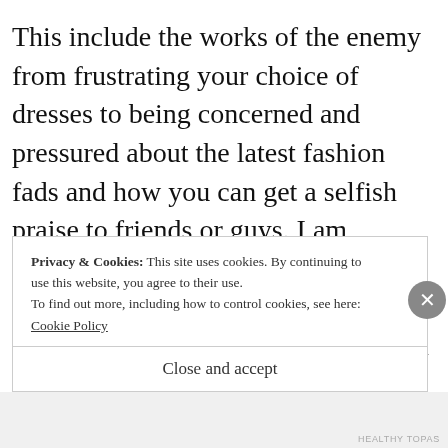This include the works of the enemy from frustrating your choice of dresses to being concerned and pressured about the latest fashion fads and how you can get a selfish praise to friends or guys. I am reminded that i am defined not with my outward appearance. Thinking also that people doesnt have to spend much more of their time thinking about how
Privacy & Cookies: This site uses cookies. By continuing to use this website, you agree to their use.
To find out more, including how to control cookies, see here:
Cookie Policy
Close and accept